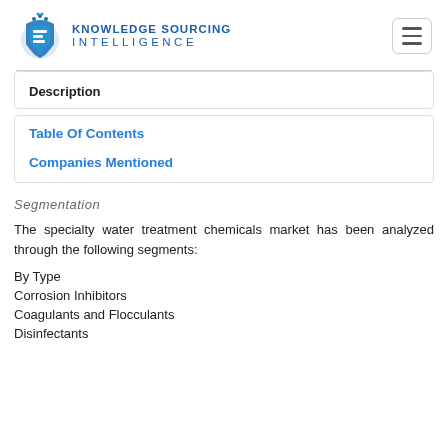KNOWLEDGE SOURCING INTELLIGENCE
Description
Table Of Contents
Companies Mentioned
Segmentation
The specialty water treatment chemicals market has been analyzed through the following segments:
By Type
Corrosion Inhibitors
Coagulants and Flocculants
Disinfectants